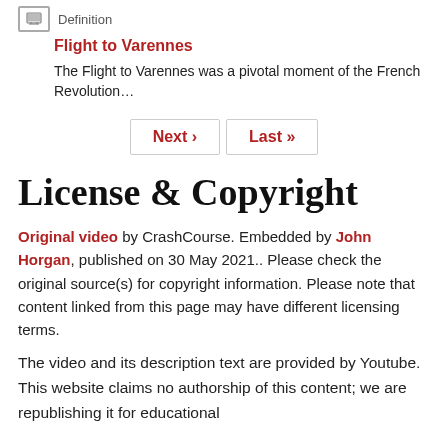[Figure (other): Small icon box with lines/image symbol]
Definition
Flight to Varennes
The Flight to Varennes was a pivotal moment of the French Revolution…
Next ›  Last »
License & Copyright
Original video by CrashCourse. Embedded by John Horgan, published on 30 May 2021.. Please check the original source(s) for copyright information. Please note that content linked from this page may have different licensing terms.
The video and its description text are provided by Youtube. This website claims no authorship of this content; we are republishing it for educational